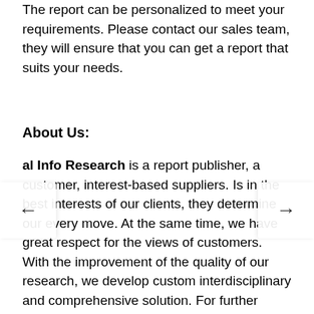The report can be personalized to meet your requirements. Please contact our sales team, they will ensure that you can get a report that suits your needs.
About Us:
Global Info Research is a report publisher, a customer, interest-based suppliers. Is in the best interests of our clients, they determine our every move. At the same time, we have great respect for the views of customers. With the improvement of the quality of our research, we develop custom interdisciplinary and comprehensive solution. For further development, we will do better and better. Global Info Research will with excellent professional knowledge and experience to carry